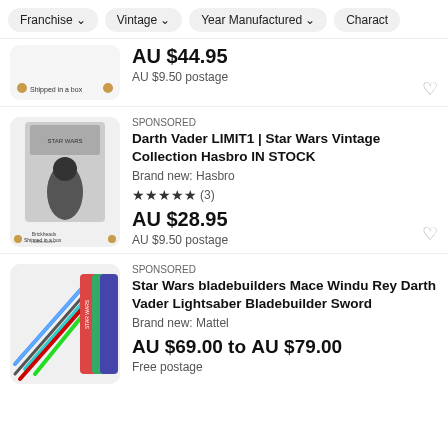Franchise  Vintage  Year Manufactured  Charact
AU $44.95
AU $9.50 postage
SPONSORED
Darth Vader LIMIT1 | Star Wars Vintage Collection Hasbro IN STOCK
Brand new: Hasbro
★★★★★ (3)
AU $28.95
AU $9.50 postage
SPONSORED
Star Wars bladebuilders Mace Windu Rey Darth Vader Lightsaber Bladebuilder Sword
Brand new: Mattel
AU $69.00 to AU $79.00
Free postage